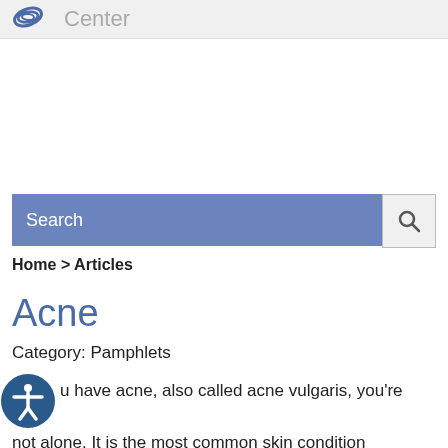Center
[Figure (other): Search bar with blue background showing 'Search' placeholder text and a magnifying glass button]
Home > Articles
Acne
Category: Pamphlets
u have acne, also called acne vulgaris, you're not alone. It is the most common skin condition